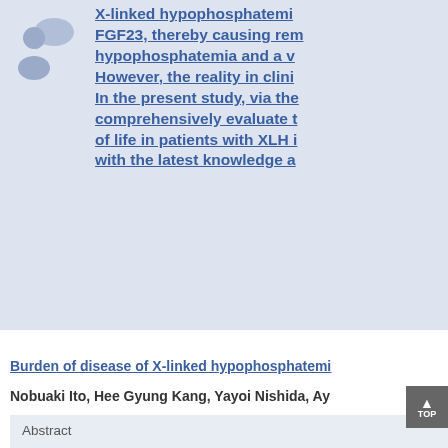[Figure (illustration): Gray avatar/person icon with speech bubble on light blue-gray background]
X-linked hypophosphatemia FGF23, thereby causing rem hypophosphatemia and a v However, the reality in clini In the present study, via the comprehensively evaluate t of life in patients with XLH with the latest knowledge a
Burden of disease of X-linked hypophosphatemi
Nobuaki Ito, Hee Gyung Kang, Yayoi Nishida, Ay
Abstract
The burden of disease of X-linked hypospho